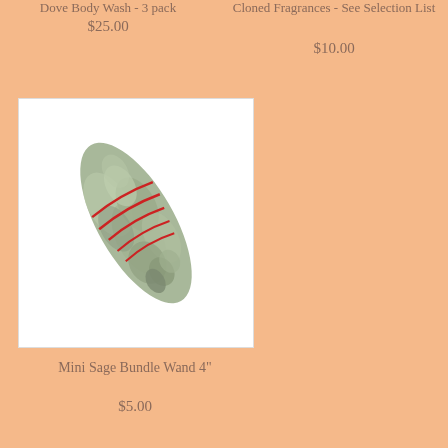Dove Body Wash - 3 pack
$25.00
Cloned Fragrances - See Selection List
$10.00
[Figure (photo): A mini sage bundle wand tied with red string, dried green leaves bundled together diagonally on a white background]
Mini Sage Bundle Wand 4"
$5.00